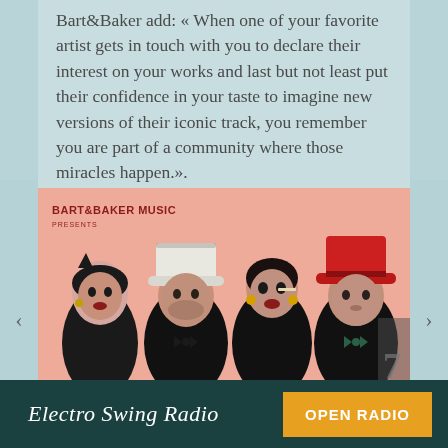Bart&Baker add: « When one of your favorite artist gets in touch with you to declare their interest on your works and last but not least put their confidence in your taste to imagine new versions of their iconic track, you remember you are part of a community where those miracles happen.».
Stream & Download on all platforms!
[Figure (photo): Album cover for Bart&Baker Music Presents — illustrated/pop-art style image of four people in formal black attire with colorful hats (white, red top hats). Text reads BART&BAKER MUSIC PRESENTS at top left.]
Electro Swing Radio   OPEN RADIO